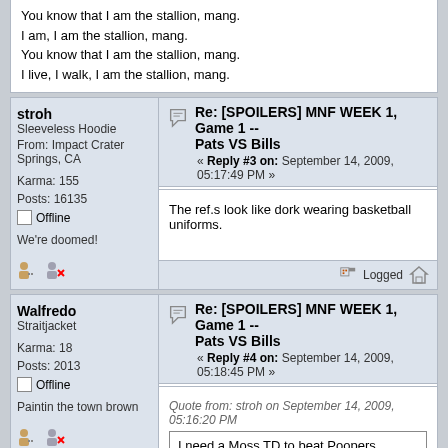You know that I am the stallion, mang.
I am, I am the stallion, mang.
You know that I am the stallion, mang.
I live, I walk, I am the stallion, mang.
stroh
Sleeveless Hoodie
From: Impact Crater Springs, CA
Karma: 155
Posts: 16135
Offline
We're doomed!
Re: [SPOILERS] MNF WEEK 1, Game 1 -- Pats VS Bills
« Reply #3 on: September 14, 2009, 05:17:49 PM »
The ref.s look like dork wearing basketball uniforms.
Walfredo
Straitjacket
Karma: 18
Posts: 2013
Offline
Paintin the town brown
Re: [SPOILERS] MNF WEEK 1, Game 1 -- Pats VS Bills
« Reply #4 on: September 14, 2009, 05:18:45 PM »
Quote from: stroh on September 14, 2009, 05:16:20 PM
I need a Moss TD to beat Poopers.

Tom Brady looks great in anything.
1)  I need Moss to do well to win my other league. Win/Lose for me.